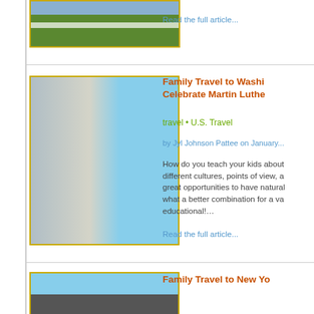[Figure (photo): Partial view of a landscape with green grass and buildings in background]
Read the full article...
[Figure (photo): Close-up of the Martin Luther King Jr. Memorial statue in Washington D.C., stone figure against blue sky]
Family Travel to Washington DC to Celebrate Martin Luther...
travel • U.S. Travel
by Jyl Johnson Pattee on January...
How do you teach your kids about different cultures, points of view, a great opportunities to have natural what a better combination for a va educational!…
Read the full article...
[Figure (photo): Partial view of New York travel article image, blue sky and dark structure visible]
Family Travel to New Yo...